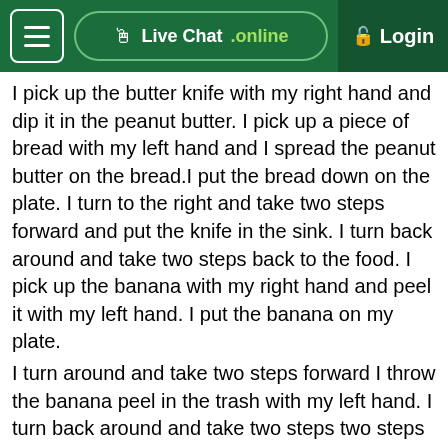Live Chat .online   Login
I pick up the butter knife with my right hand and dip it in the peanut butter. I pick up a piece of bread with my left hand and I spread the peanut butter on the bread.I put the bread down on the plate. I turn to the right and take two steps forward and put the knife in the sink. I turn back around and take two steps back to the food. I pick up the banana with my right hand and peel it with my left hand. I put the banana on my plate.
I turn around and take two steps forward I throw the banana peel in the trash with my left hand. I turn back around and take two steps two steps back to my food. I pick the banana up with my left hand and set it on the counter. I grab the sharp knife with my right hand and start to slice the banana.After I'm done with slicing, I put down the sharp knife. I pick up the pieces one by one with my right hand and put them on the slice of bread with the peanut butter. I pick up the piece of bread without anything on it with my right